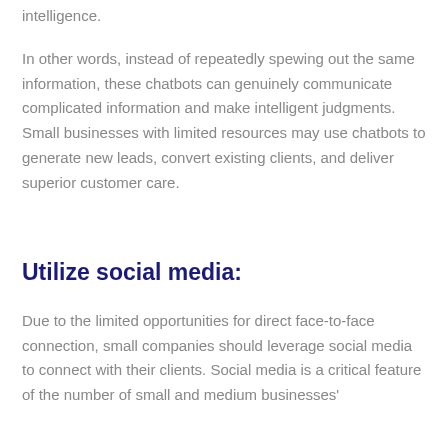intelligence.
In other words, instead of repeatedly spewing out the same information, these chatbots can genuinely communicate complicated information and make intelligent judgments. Small businesses with limited resources may use chatbots to generate new leads, convert existing clients, and deliver superior customer care.
Utilize social media:
Due to the limited opportunities for direct face-to-face connection, small companies should leverage social media to connect with their clients. Social media is a critical feature of the number of small and medium businesses'